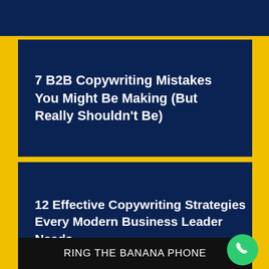[Figure (screenshot): Dark navy blue top bar banner]
7 B2B Copywriting Mistakes You Might Be Making (But Really Shouldn't Be)
12 Effective Copywriting Strategies Every Modern Business Leader Needs
RING THE BANANA PHONE